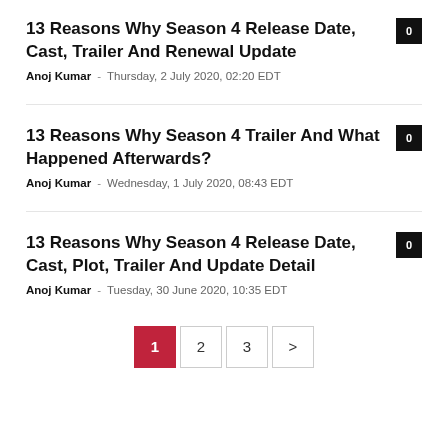13 Reasons Why Season 4 Release Date, Cast, Trailer And Renewal Update
Anoj Kumar - Thursday, 2 July 2020, 02:20 EDT
13 Reasons Why Season 4 Trailer And What Happened Afterwards?
Anoj Kumar - Wednesday, 1 July 2020, 08:43 EDT
13 Reasons Why Season 4 Release Date, Cast, Plot, Trailer And Update Detail
Anoj Kumar - Tuesday, 30 June 2020, 10:35 EDT
1 2 3 >